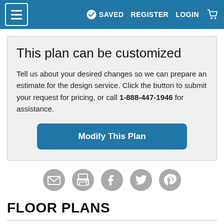≡  ✓ SAVED  REGISTER  LOGIN  🛒
This plan can be customized
Tell us about your desired changes so we can prepare an estimate for the design service. Click the button to submit your request for pricing, or call 1-888-447-1946 for assistance.
[Figure (other): Modify This Plan button (blue rounded rectangle)]
[Figure (other): Social sharing icons row: email, print, Facebook, Twitter, Pinterest]
FLOOR PLANS